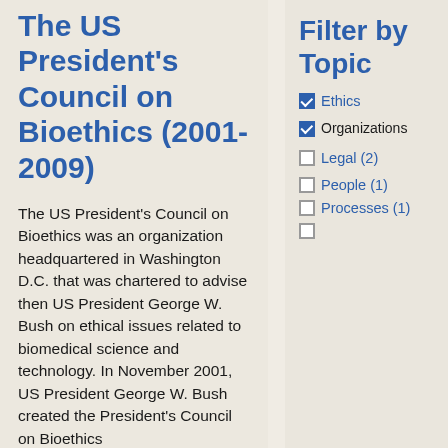The US President's Council on Bioethics (2001-2009)
The US President's Council on Bioethics was an organization headquartered in Washington D.C. that was chartered to advise then US President George W. Bush on ethical issues related to biomedical science and technology. In November 2001, US President George W. Bush created the President's Council on Bioethics
Filter by Topic
Ethics (checked)
Organizations (checked)
Legal (2)
People (1)
Processes (1)